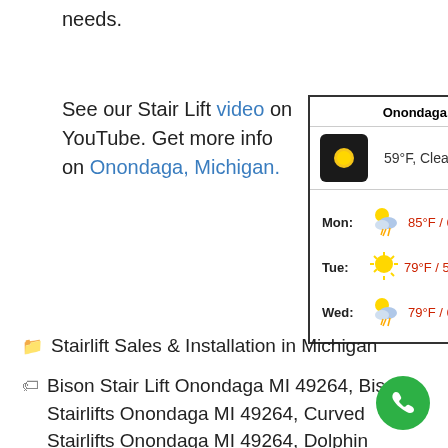needs.
See our Stair Lift video on YouTube. Get more info on Onondaga, Michigan.
[Figure (infographic): Weather widget showing Onondaga, MI weather. Current: 59°F, Clear. Forecast: Mon 85°F/69°F (thunderstorms), Tue 79°F/59°F (sunny), Wed 79°F/61°F (thunderstorms).]
Stairlift Sales & Installation in Michigan
Bison Stair Lift Onondaga MI 49264, Bison Stairlifts Onondaga MI 49264, Curved Stairlifts Onondaga MI 49264, Dolphin Stairlifts Onondaga MI 49264, Flow Stairlift Onondaga MI